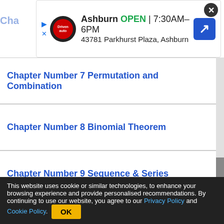[Figure (screenshot): Advertisement banner for Ashburn auto shop: OPEN 7:30AM-6PM, 43781 Parkhurst Plaza, Ashburn]
Chapter Number 7 Permutation and Combination
Chapter Number 8 Binomial Theorem
Chapter Number 9 Sequence & Series
Chapter Number 10 Straight Lines
Chapter Number 11 Conic Section
Chapter Number 12 Introduction to 3D Geometry
This website uses cookie or similar technologies, to enhance your browsing experience and provide personalised recommendations. By continuing to use our website, you agree to our Privacy Policy and Cookie Policy.